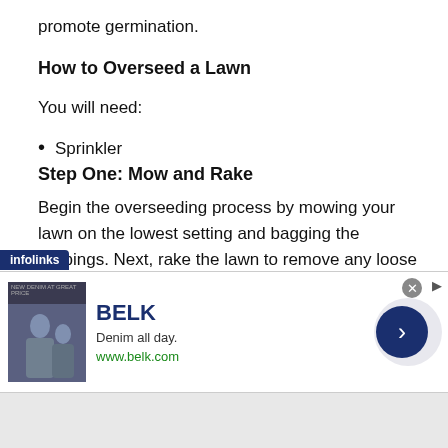promote germination.
How to Overseed a Lawn
You will need:
Sprinkler
Step One: Mow and Rake
Begin the overseeding process by mowing your lawn on the lowest setting and bagging the clippings. Next, rake the lawn to remove any loose grass or debris, further exposing the soil to accommodate the new seed.
[Figure (other): Infolinks advertisement overlay featuring BELK brand. Shows 'Denim all day. www.belk.com' with navigation arrow. Infolinks label in dark blue bar at top-left.]